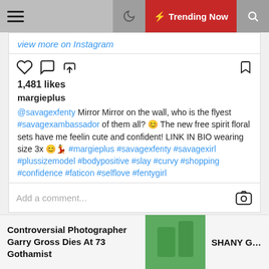Trending Now
view more on Instagram
1,481 likes
margieplus
@savagexfenty Mirror Mirror on the wall, who is the flyest #savagexambassador of them all? 😊 The new free spirit floral sets have me feelin cute and confident! LINK IN BIO wearing size 3x 😊💃 #margieplus #savagexfenty #savagexirl #plussizemodel #bodypositive #slay #curvy #shopping #confidence #faticon #selflove #fentygirl
view all 101 comments
Add a comment...
Controversial Photographer Garry Gross Dies At 73 Gothamist
SHANY Glamour G